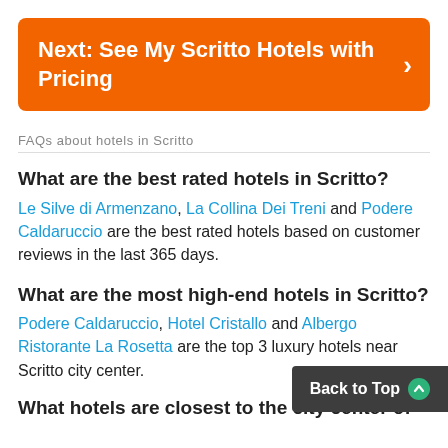[Figure (other): Orange banner button with text 'Next: See My Scritto Hotels with Pricing' and a right arrow chevron]
FAQs about hotels in Scritto
What are the best rated hotels in Scritto?
Le Silve di Armenzano, La Collina Dei Treni and Podere Caldaruccio are the best rated hotels based on customer reviews in the last 365 days.
What are the most high-end hotels in Scritto?
Podere Caldaruccio, Hotel Cristallo and Albergo Ristorante La Rosetta are the top 3 luxury hotels near Scritto city center.
Back to Top
What hotels are closest to the city center of